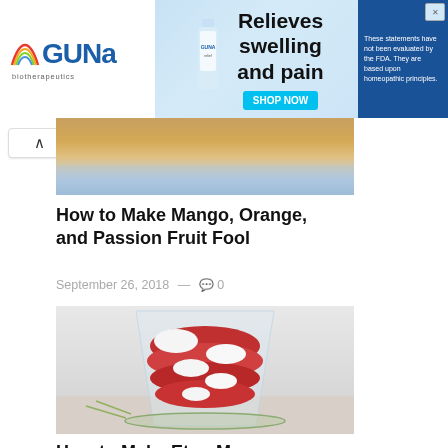[Figure (photo): GUNA biotherapeutics advertisement banner showing logo, product bottle, 'Relieves swelling and pain' headline with SHOP NOW button, and FDA disclaimer text]
[Figure (photo): Partial image of mango orange passion fruit fool dessert, cropped at top]
How to Make Mango, Orange, and Passion Fruit Fool
September 26, 2018 — 0
[Figure (photo): A glass dessert cup filled with layers of red berry compote and whipped cream, Eton Mess style]
How to Make Eton Mess
September 25, 2018 — 0